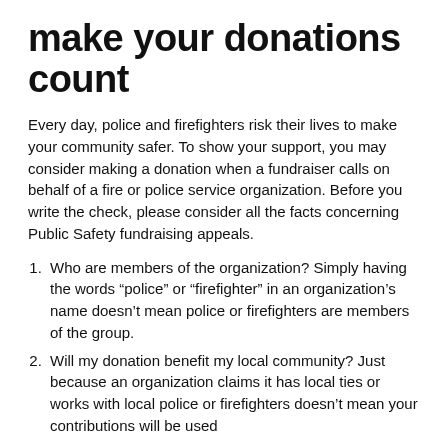make your donations count
Every day, police and firefighters risk their lives to make your community safer. To show your support, you may consider making a donation when a fundraiser calls on behalf of a fire or police service organization. Before you write the check, please consider all the facts concerning Public Safety fundraising appeals.
Who are members of the organization? Simply having the words “police” or “firefighter” in an organization’s name doesn’t mean police or firefighters are members of the group.
Will my donation benefit my local community? Just because an organization claims it has local ties or works with local police or firefighters doesn’t mean your contributions will be used